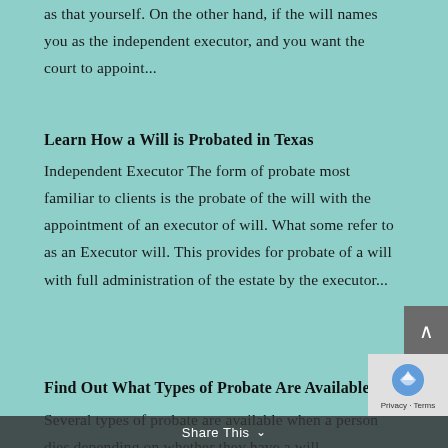as that yourself. On the other hand, if the will names you as the independent executor, and you want the court to appoint...
Learn How a Will is Probated in Texas
Independent Executor The form of probate most familiar to clients is the probate of the will with the appointment of an executor of will. What some refer to as an Executor will. This provides for probate of a will with full administration of the estate by the executor...
Find Out What Types of Probate Are Available
Several types of probate are available when a person dies depending on whether they have a will